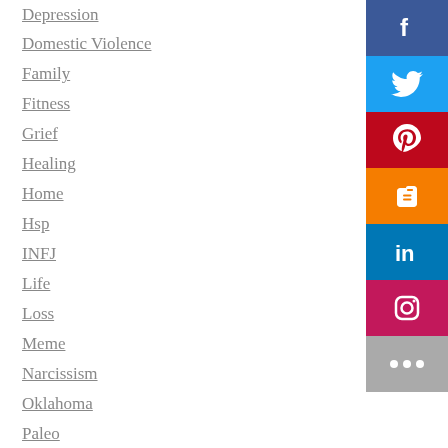Depression
Domestic Violence
Family
Fitness
Grief
Healing
Home
Hsp
INFJ
Life
Loss
Meme
Narcissism
Oklahoma
Paleo
Psychology
Relationships
Stress
Texas
[Figure (infographic): Social media share buttons: Facebook (blue), Twitter (light blue), Pinterest (red), Blogger (orange), LinkedIn (dark blue), Instagram (pink/magenta), More (gray with three dots)]